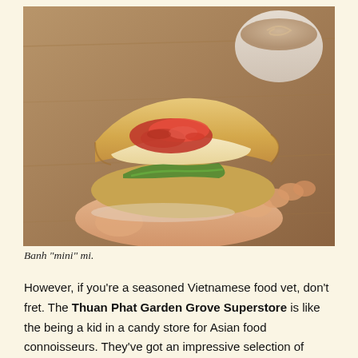[Figure (photo): A hand holding a small Vietnamese banh mi sandwich (banh mini mi) with red meat filling visible in the crusty baguette roll, green herbs peeking out below, next to a blurred white cup in the background on a wooden surface.]
Banh "mini" mi.
However, if you're a seasoned Vietnamese food vet, don't fret. The Thuan Phat Garden Grove Superstore is like the being a kid in a candy store for Asian food connoisseurs. They've got an impressive selection of everything Vietnamese and then some. There are literally scores upon scores of fish sauces (or